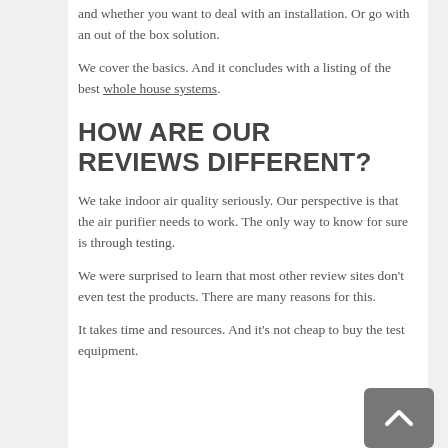and whether you want to deal with an installation.  Or go with an out of the box solution.
We cover the basics.  And it concludes with a listing of the best whole house systems.
HOW ARE OUR REVIEWS DIFFERENT?
We take indoor air quality seriously.  Our perspective is that the air purifier needs to work.  The only way to know for sure is through testing.
We were surprised to learn that most other review sites don't even test the products.  There are many reasons for this.
It takes time and resources. And it's not cheap to buy the test equipment.